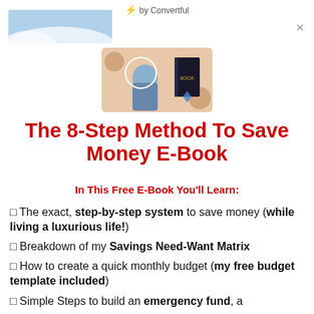⚡ by Convertful
[Figure (illustration): Light blue banner/image in top left corner]
[Figure (photo): Promotional image showing a person and a book cover on a peach/tan background]
The 8-Step Method To Save Money E-Book
In This Free E-Book You'll Learn:
✓ The exact, step-by-step system to save money (while living a luxurious life!)
✓ Breakdown of my Savings Need-Want Matrix
✓ How to create a quick monthly budget (my free budget template included)
✓ Simple Steps to build an emergency fund, a